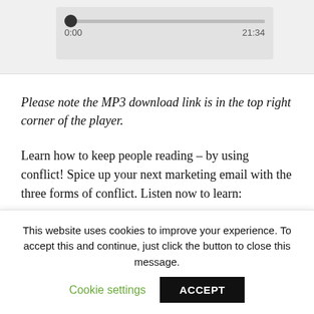[Figure (screenshot): Audio player with seek bar showing 0:00 on left and 21:34 on right, slider thumb at start position]
Please note the MP3 download link is in the top right corner of the player.
Learn how to keep people reading – by using conflict! Spice up your next marketing email with the three forms of conflict. Listen now to learn:
Why most of your conflict should NOT be physical
This website uses cookies to improve your experience. To accept this and continue, just click the button to close this message. Cookie settings ACCEPT